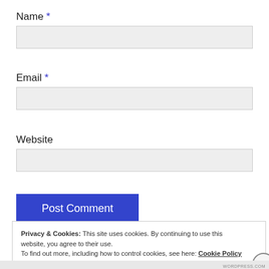Name *
Email *
Website
Post Comment
Privacy & Cookies: This site uses cookies. By continuing to use this website, you agree to their use. To find out more, including how to control cookies, see here: Cookie Policy
Close and accept
WORDPRESS.COM